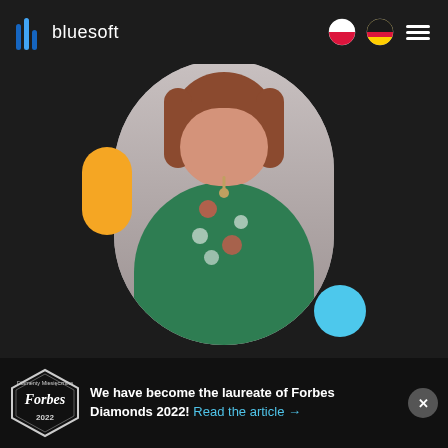[Figure (logo): Bluesoft company logo with blue vertical bar chart icon and 'bluesoft' text in white]
[Figure (photo): Portrait photo of a woman with reddish-brown hair wearing a green floral dress, shown in an oval/rounded frame with a gray background. Yellow rounded rectangle accent on the left, light blue circle accent on the lower right.]
We have become the laureate of Forbes Diamonds 2022! Read the article →